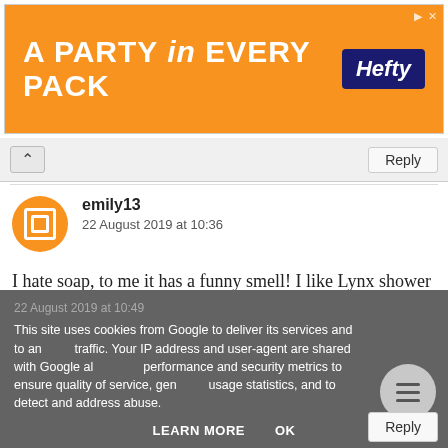[Figure (other): Hefty brand advertisement banner: orange background with white bold text 'A PARTY in EVERY PACK' and Hefty logo in dark blue on the right]
emily13
22 August 2019 at 10:36
I hate soap, to me it has a funny smell! I like Lynx shower gels
Ms C Bryan
22 August 2019 at 10:49
This site uses cookies from Google to deliver its services and to analyze traffic. Your IP address and user-agent are shared with Google along with performance and security metrics to ensure quality of service, generate usage statistics, and to detect and address abuse.
LEARN MORE
OK